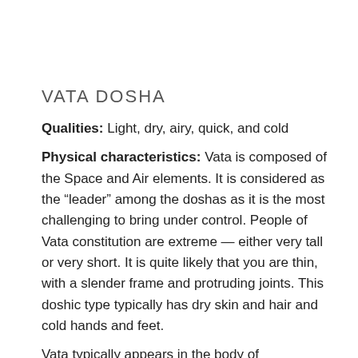VATA DOSHA
Qualities: Light, dry, airy, quick, and cold
Physical characteristics: Vata is composed of the Space and Air elements. It is considered as the “leader” among the doshas as it is the most challenging to bring under control. People of Vata constitution are extreme — either very tall or very short. It is quite likely that you are thin, with a slender frame and protruding joints. This doshic type typically has dry skin and hair and cold hands and feet.
Vata typically appears in the body of...